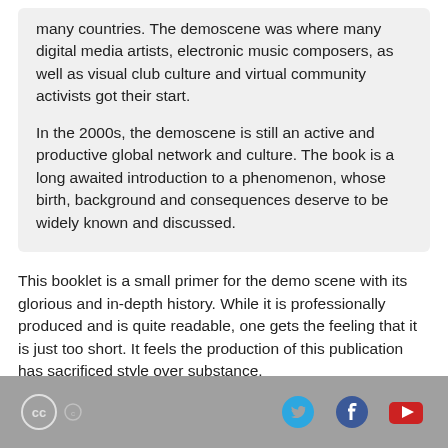many countries. The demoscene was where many digital media artists, electronic music composers, as well as visual club culture and virtual community activists got their start.
In the 2000s, the demoscene is still an active and productive global network and culture. The book is a long awaited introduction to a phenomenon, whose birth, background and consequences deserve to be widely known and discussed.
This booklet is a small primer for the demo scene with its glorious and in-depth history. While it is professionally produced and is quite readable, one gets the feeling that it is just too short. It feels the production of this publication has sacrificed style over substance.
[Figure (other): Footer bar with Creative Commons icon, Twitter bird icon, Facebook icon, and YouTube icon]